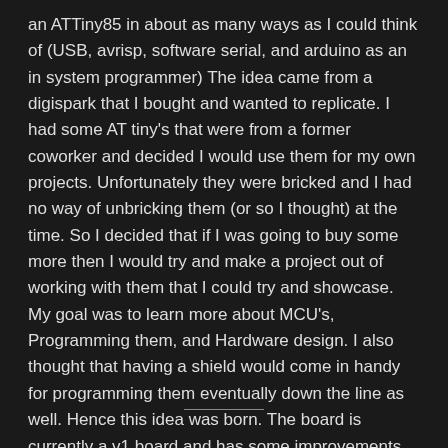an ATTiny85 in about as many ways as I could think of (USB, avrisp, software serial, and arduino as an in system programmer) The idea came from a digispark that I bought and wanted to replicate. I had some AT tiny's that were from a former coworker and decided I would use them for my own projects. Unfortunately they were bricked and I had no way of unbricking them (or so I thought) at the time. So I decided that if I was going to buy some more then I would try and make a project out of working with them that I could try and showcase. My goal was to learn more about MCU's, Programming them, and Hardware design. I also thought that having a shield would come in handy for programming them eventually down the line as well. Hence this idea was born. The board is currently a v1 board and has some improvements to be made but I've already got my V2 board made and on it's way.